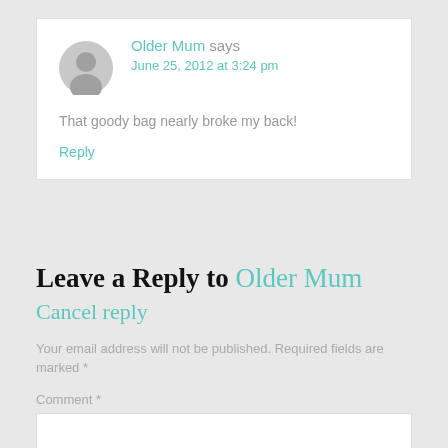Older Mum says
June 25, 2012 at 3:24 pm
That goody bag nearly broke my back!
Reply
Leave a Reply to Older Mum Cancel reply
Your email address will not be published. Required fields are marked *
Comment *